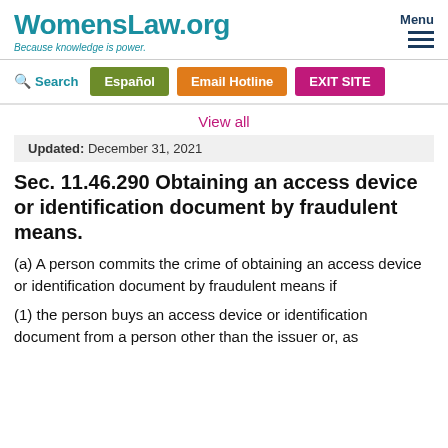WomensLaw.org — Because knowledge is power. Menu
Search | Español | Email Hotline | EXIT SITE
View all
Updated: December 31, 2021
Sec. 11.46.290 Obtaining an access device or identification document by fraudulent means.
(a) A person commits the crime of obtaining an access device or identification document by fraudulent means if
(1) the person buys an access device or identification document from a person other than the issuer or, as